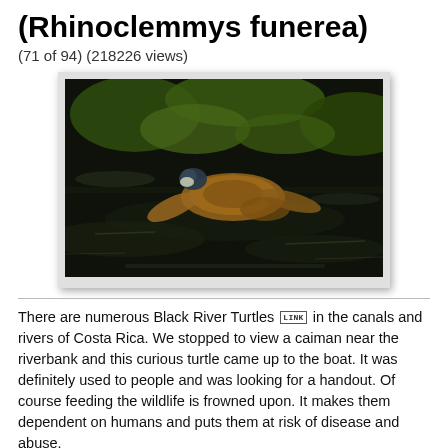(Rhinoclemmys funerea)
(71 of 94) (218226 views)
[Figure (photo): A Black River Turtle (Rhinoclemmys funerea) swimming in dark water near green aquatic plants, viewed from above with its head and front limbs visible.]
There are numerous Black River Turtles [LINK] in the canals and rivers of Costa Rica. We stopped to view a caiman near the riverbank and this curious turtle came up to the boat. It was definitely used to people and was looking for a handout. Of course feeding the wildlife is frowned upon. It makes them dependent on humans and puts them at risk of disease and abuse.